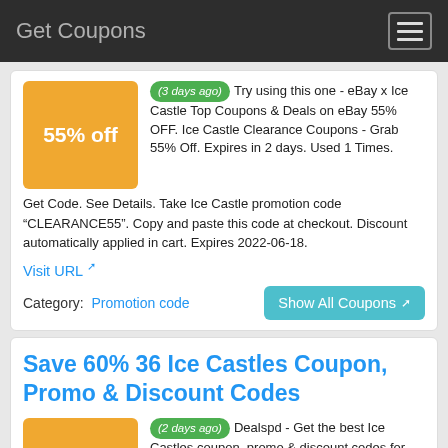Get Coupons
(3 days ago) Try using this one - eBay x Ice Castle Top Coupons & Deals on eBay 55% OFF. Ice Castle Clearance Coupons - Grab 55% Off. Expires in 2 days. Used 1 Times. Get Code. See Details. Take Ice Castle promotion code "CLEARANCE55". Copy and paste this code at checkout. Discount automatically applied in cart. Expires 2022-06-18.
Visit URL
Category: Promotion code
Show All Coupons
Save 60% 36 Ice Castles Coupon, Promo & Discount Codes
(2 days ago) Dealspd - Get the best Ice Castles coupon, promo & discount codes for Jan 2022. Find the very vouchers for your orders and start saving money. Take